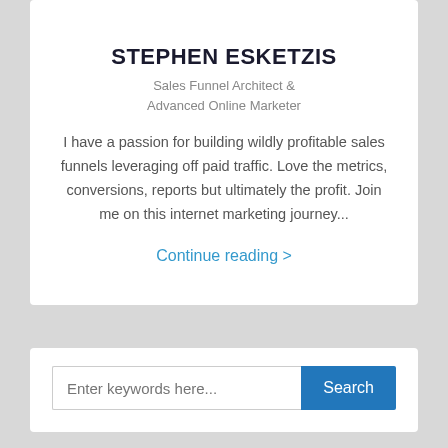STEPHEN ESKETZIS
Sales Funnel Architect & Advanced Online Marketer
I have a passion for building wildly profitable sales funnels leveraging off paid traffic. Love the metrics, conversions, reports but ultimately the profit. Join me on this internet marketing journey...
Continue reading >